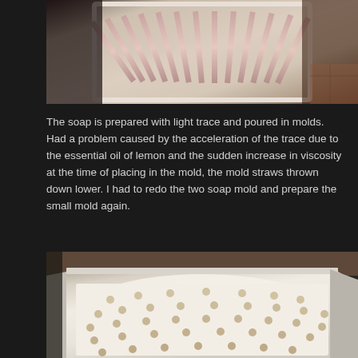[Figure (photo): Close-up angled view of a soap mold with vertical straws or tubes inserted, showing pink and beige tones, with wooden surface visible in background.]
The soap is prepared with light trace and poured in molds. Had a problem caused by the acceleration of the trace due to the essential oil of lemon and the sudden increase in viscosity at the time of placing in the mold, the mold straws thrown down lower. I had to redo the two soap mold and prepare the small mold again.
[Figure (photo): Top-down angled view of a white rectangular soap mold/tray filled with creamy white soap batter, with many small round pegs or dots arranged in a pattern across the surface.]